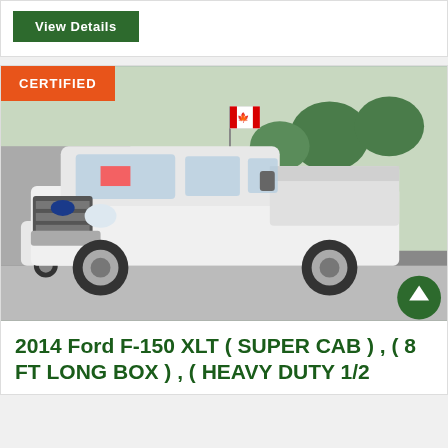[Figure (other): Green 'View Details' button on white/light gray background]
[Figure (photo): White 2014 Ford F-150 XLT Super Cab pickup truck parked on a street, with a Canadian flag on the antenna, trees and buildings in background. Orange 'CERTIFIED' badge in upper left corner.]
2014 Ford F-150 XLT ( SUPER CAB ) , ( 8 FT LONG BOX ) , ( HEAVY DUTY 1/2